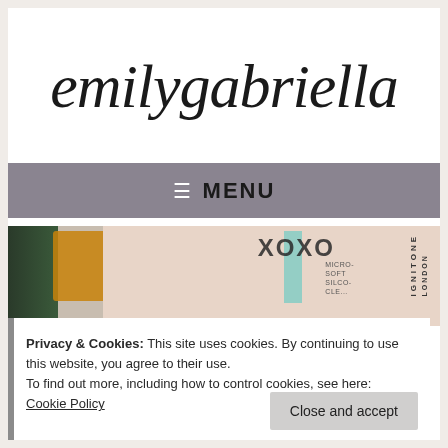emilygabriella
≡ MENU
[Figure (photo): Photo showing beauty/skincare products including XOXO branded item and IGNITONE LONDON packaging against a pink background with green plant elements]
Privacy & Cookies: This site uses cookies. By continuing to use this website, you agree to their use.
To find out more, including how to control cookies, see here: Cookie Policy
Close and accept